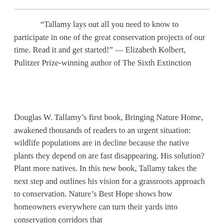“Tallamy lays out all you need to know to participate in one of the great conservation projects of our time. Read it and get started!” — Elizabeth Kolbert, Pulitzer Prize-winning author of The Sixth Extinction
Douglas W. Tallamy’s first book, Bringing Nature Home, awakened thousands of readers to an urgent situation: wildlife populations are in decline because the native plants they depend on are fast disappearing. His solution? Plant more natives. In this new book, Tallamy takes the next step and outlines his vision for a grassroots approach to conservation. Nature’s Best Hope shows how homeowners everywhere can turn their yards into conservation corridors that